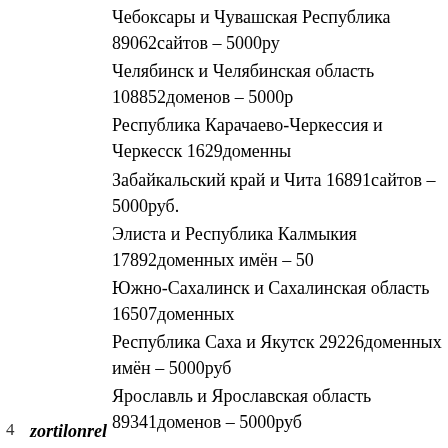Чебоксары и Чувашская Республика 89062сайтов – 5000руб.
Челябинск и Челябинская область 108852доменов – 5000руб.
Республика Карачаево-Черкессия и Черкесск 1629доменных...
Забайкальский край и Чита 16891сайтов – 5000руб.
Элиста и Республика Калмыкия 17892доменных имён – 5000...
Южно-Сахалинск и Сахалинская область 16507доменных...
Республика Саха и Якутск 29226доменных имён – 5000руб.
Ярославль и Ярославская область 89341доменов – 5000руб.
Базы:
Организации из сервисов Яндекс и Гугл карт собранные по России.
Организации РФ из: Yellow pages, 2GIS, Ros-bis, Актинфо, Сам5, Фолиант, Yarmap, Топплан, Tel09, Spravochnik-09, Ег... Интервеб.спб, Moscowfirma, EGRUL, Data.mos, Мосгид, М...
Базы ВОЙС доменных имён всех стран мира.
Вы можете приобрести наши базы отдельно от рассылки п...
P/S
Пожалуйста не отвечайте на это коммерческое предложени... Используйте для связи контакт-форму [url=https://kontakt-f...
формам обратной связи[/url]
March 9, 2021 at 07:09 | Report abuse | Reply
4  zortilonrel